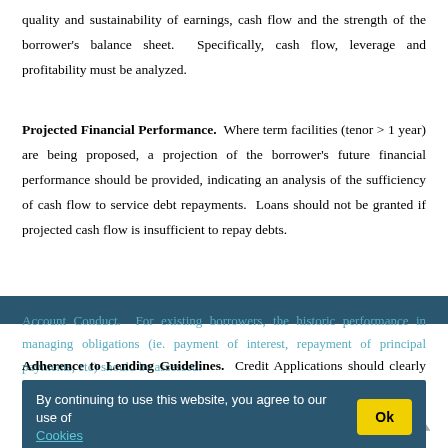quality and sustainability of earnings, cash flow and the strength of the borrower's balance sheet.  Specifically, cash flow, leverage and profitability must be analyzed.
Projected Financial Performance.  Where term facilities (tenor > 1 year) are being proposed, a projection of the borrower's future financial performance should be provided, indicating an analysis of the sufficiency of cash flow to service debt repayments.  Loans should not be granted if projected cash flow is insufficient to repay debts.
Account Conduct.  For existing borrowers, the historic performance in managing obligations (ie. payment of interest, repayment of principal payments, etc) should be assessed.
Adherence to Lending Guidelines.  Credit Applications should clearly state whether or not the proposed application is in compliance with the